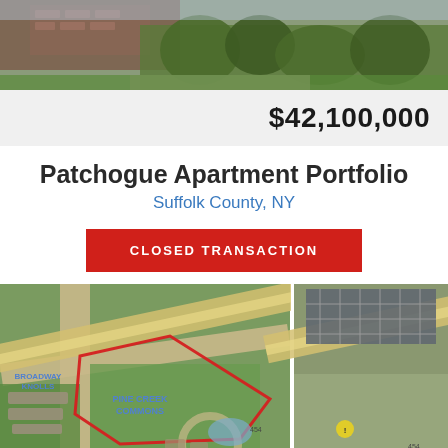[Figure (photo): Aerial/street photo of apartment buildings with brick facade and green trees/lawn]
$42,100,000
Patchogue Apartment Portfolio
Suffolk County, NY
CLOSED TRANSACTION
[Figure (map): Aerial map view showing Pine Creek Commons and Broadway Knolls apartment complexes with red polygon outline, split into two views]